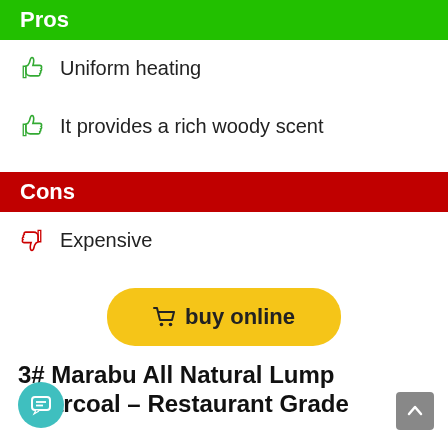Pros
Uniform heating
It provides a rich woody scent
Cons
Expensive
[Figure (other): Yellow rounded 'buy online' button with shopping cart icon]
3# Marabu All Natural Lump Charcoal – Restaurant Grade